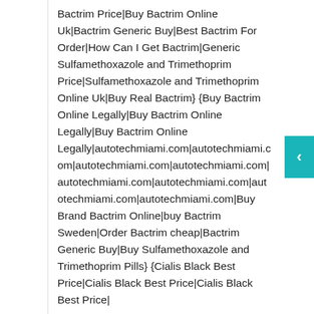Bactrim Price|Buy Bactrim Online Uk|Bactrim Generic Buy|Best Bactrim For Order|How Can I Get Bactrim|Generic Sulfamethoxazole and Trimethoprim Price|Sulfamethoxazole and Trimethoprim Online Uk|Buy Real Bactrim} {Buy Bactrim Online Legally|Buy Bactrim Online Legally|Buy Bactrim Online Legally|autotechmiami.com|autotechmiami.com|autotechmiami.com|autotechmiami.com|autotechmiami.com|autotechmiami.com|autotechmiami.com|Buy Brand Bactrim Online|buy Bactrim Sweden|Order Bactrim cheap|Bactrim Generic Buy|Buy Sulfamethoxazole and Trimethoprim Pills} {Cialis Black Best Price|Cialis Black Best Price|Cialis Black Best Price|...